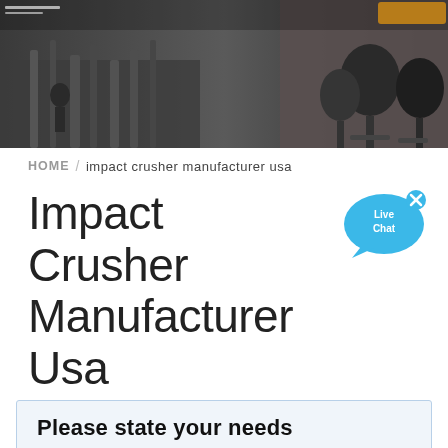[Figure (photo): Industrial factory/studio background image showing equipment and microphones, blurred/dark]
HOME / impact crusher manufacturer usa
Impact Crusher Manufacturer Usa
[Figure (illustration): Live Chat speech bubble icon in blue with 'Live Chat' text and an X close button]
Please state your needs
Anhui Meilan Intelligent Equipment Manufacturing Co., Ltd. warmly welcome all walks of life to contact us, we are waiting for your inquiry all day!